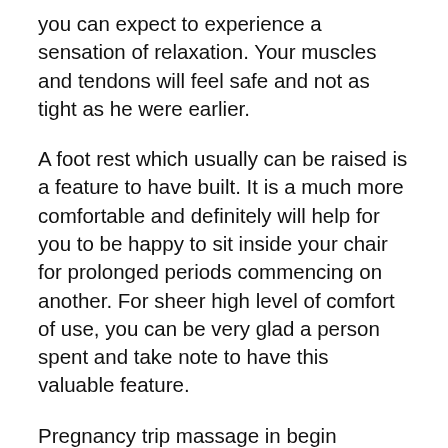you can expect to experience a sensation of relaxation. Your muscles and tendons will feel safe and not as tight as he were earlier.
A foot rest which usually can be raised is a feature to have built. It is a much more comfortable and definitely will help for you to be happy to sit inside your chair for prolonged periods commencing on another. For sheer high level of comfort of use, you can be very glad a person spent and take note to have this valuable feature.
Pregnancy trip massage in begin trimester is not advised. Typically the second & third trimester, aromatherapy oils can have opposing effects so has used with care. Deep tissue is not recommended being pregnant &